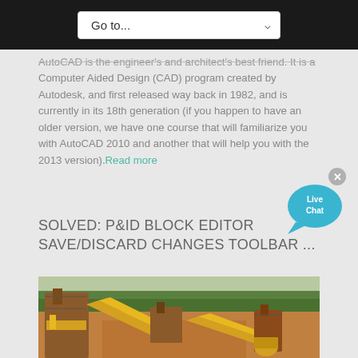Go to...
AutoCAD is the engineer's and architect's best friend. It is a Computer Aided Design (CAD) program created by Autodesk, and first released way back in 1982, and is currently in its 18th generation (if you happen to have an older version, we have one course that will familiarize you with AutoCAD 2010 and another that will help you with the 2013 version). Read more
[Figure (illustration): Live Chat speech bubble widget with blue color and 'x' close button]
SOLVED: P&ID BLOCK EDITOR SAVE/DISCARD CHANGES TOOLBAR ...
[Figure (photo): Industrial mining or quarrying equipment with yellow conveyor belts and machinery on a dirt site with green trees in the background]